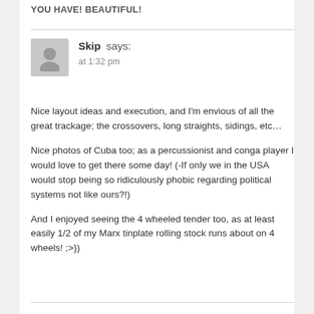YOU HAVE! BEAUTIFUL!
Skip says:
at 1:32 pm
Nice layout ideas and execution, and I'm envious of all the great trackage; the crossovers, long straights, sidings, etc…

Nice photos of Cuba too; as a percussionist and conga player I would love to get there some day! (-If only we in the USA would stop being so ridiculously phobic regarding political systems not like ours?!)

And I enjoyed seeing the 4 wheeled tender too, as at least easily 1/2 of my Marx tinplate rolling stock runs about on 4 wheels! ;>})